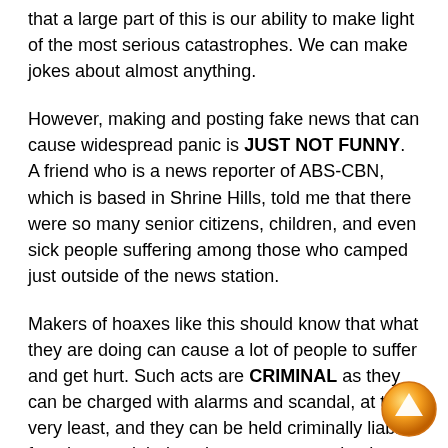that a large part of this is our ability to make light of the most serious catastrophes. We can make jokes about almost anything.
However, making and posting fake news that can cause widespread panic is JUST NOT FUNNY. A friend who is a news reporter of ABS-CBN, which is based in Shrine Hills, told me that there were so many senior citizens, children, and even sick people suffering among those who camped just outside of the news station.
Makers of hoaxes like this should know that what they are doing can cause a lot of people to suffer and get hurt. Such acts are CRIMINAL as they can be charged with alarms and scandal, at the very least, and they can be held criminally liable for whatever injuries, damage or even deaths caused by the panic that ensues from the fake news.
[Figure (other): Orange circular navigation button with an upward-pointing arrow, located in the bottom-right corner of the page.]